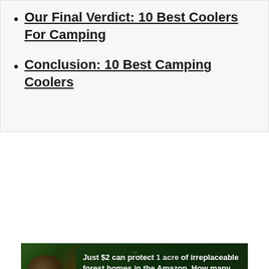Our Final Verdict: 10 Best Coolers For Camping
Conclusion: 10 Best Camping Coolers
[Figure (other): Advertisement banner with forest/Amazon theme. Text reads: 'Just $2 can protect 1 acre of irreplaceable forest homes in the Amazon. How many acres are you willing to protect?' with a green 'PROTECT FORESTS NOW' button.]